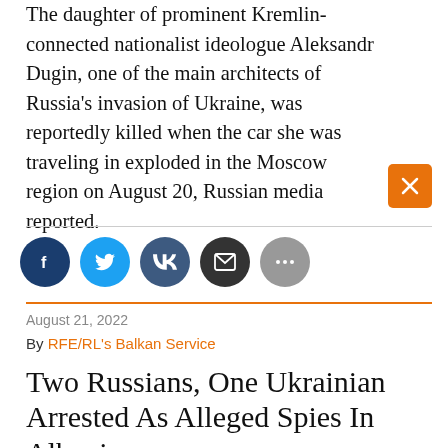The daughter of prominent Kremlin-connected nationalist ideologue Aleksandr Dugin, one of the main architects of Russia's invasion of Ukraine, was reportedly killed when the car she was traveling in exploded in the Moscow region on August 20, Russian media reported.
[Figure (infographic): Social sharing buttons: Facebook (dark blue), Twitter (light blue), VK (dark blue-grey), Email (dark grey), More (grey)]
August 21, 2022
By RFE/RL's Balkan Service
Two Russians, One Ukrainian Arrested As Alleged Spies In Albania